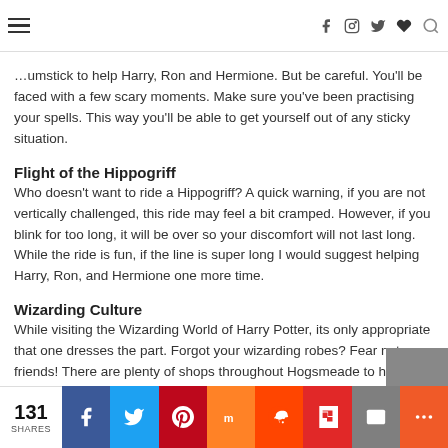Navigation bar with hamburger menu, social icons (Facebook, Instagram, Twitter, heart), and search
...umstick to help Harry, Ron and Hermione. But be careful. You'll be faced with a few scary moments. Make sure you've been practising your spells. This way you'll be able to get yourself out of any sticky situation.
Flight of the Hippogriff
Who doesn't want to ride a Hippogriff? A quick warning, if you are not vertically challenged, this ride may feel a bit cramped. However, if you blink for too long, it will be over so your discomfort will not last long. While the ride is fun, if the line is super long I would suggest helping Harry, Ron, and Hermione one more time.
Wizarding Culture
While visiting the Wizarding World of Harry Potter, its only appropriate that one dresses the part. Forgot your wizarding robes? Fear not my friends! There are plenty of shops throughout Hogsmeade to help you look the part.
131 SHARES — Share buttons: Facebook, Twitter, Pinterest, Mix, Reddit, Flipboard, Email, More